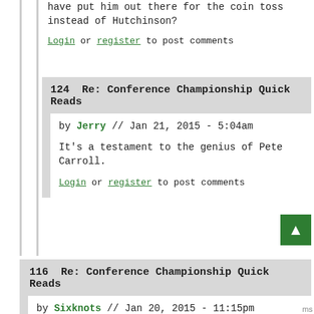have put him out there for the coin toss instead of Hutchinson?
Login or register to post comments
124  Re: Conference Championship Quick Reads
by Jerry // Jan 21, 2015 - 5:04am
It's a testament to the genius of Pete Carroll.
Login or register to post comments
116  Re: Conference Championship Quick Reads
by Sixknots // Jan 20, 2015 - 11:15pm